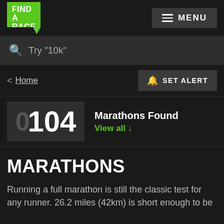FIND A RACE | MENU
Try "10k"
< Home | SET ALERT
0104 Marathons Found
View all ↓
MARATHONS
Running a full marathon is still the classic test for any runner. 26.2 miles (42km) is short enough to be